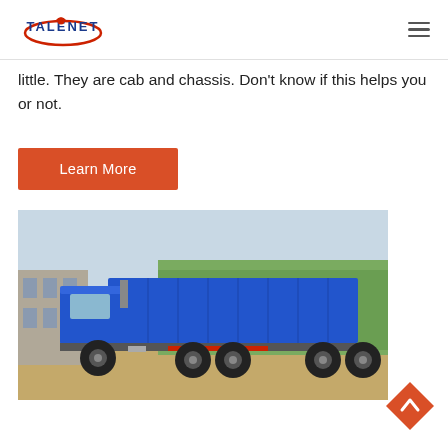TALENET
little. They are cab and chassis. Don't know if this helps you or not.
Learn More
[Figure (photo): Blue heavy-duty dump truck (tipper truck) parked on a dirt lot with trees and a building visible in the background. Side profile view showing 8 wheels and a large blue cargo bed.]
[Figure (other): Orange/red diamond-shaped back-to-top button with an upward chevron arrow]